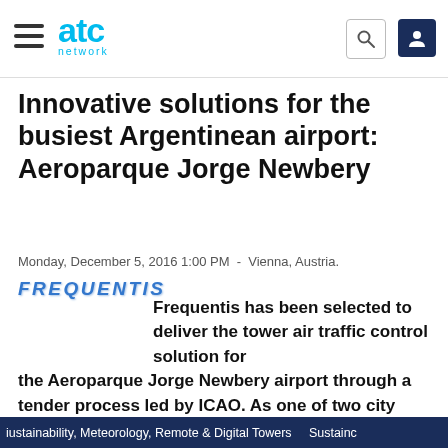atc network
Innovative solutions for the busiest Argentinean airport: Aeroparque Jorge Newbery
Monday, December 5, 2016 1:00 PM  -  Vienna, Austria.
[Figure (logo): Frequentis logo in blue italic bold uppercase letters]
Frequentis has been selected to deliver the tower air traffic control solution for the Aeroparque Jorge Newbery airport through a tender process led by ICAO. As one of two city airports in Buenos Aires, it is the busiest one in Argentina and acts as the hub of Aerolineas Argentinas. Frequentis will deliver IP-based voice and recording systems along with tower automation
iustainability, Meteorology, Remote & Digital Towers    Sustainc